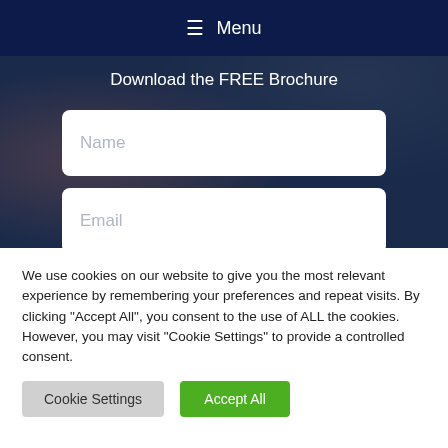≡ Menu
Download the FREE Brochure
Name
Email
+1  Phone Number
We use cookies on our website to give you the most relevant experience by remembering your preferences and repeat visits. By clicking "Accept All", you consent to the use of ALL the cookies. However, you may visit "Cookie Settings" to provide a controlled consent.
Cookie Settings
Accept All